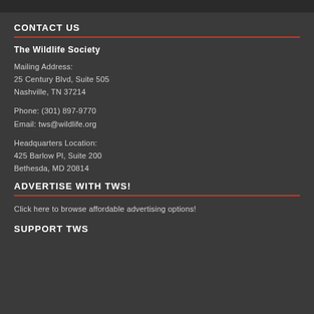CONTACT US
The Wildlife Society
Mailing Address:
25 Century Blvd, Suite 505
Nashville, TN 37214
Phone: (301) 897-9770
Email: tws@wildlife.org
Headquarters Location:
425 Barlow Pl, Suite 200
Bethesda, MD 20814
ADVERTISE WITH TWS!
Click here to browse affordable advertising options!
SUPPORT TWS